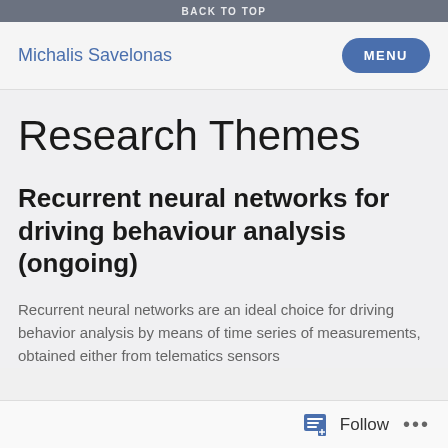BACK TO TOP
Michalis Savelonas
Research Themes
Recurrent neural networks for driving behaviour analysis (ongoing)
Recurrent neural networks are an ideal choice for driving behavior analysis by means of time series of measurements, obtained either from telematics sensors